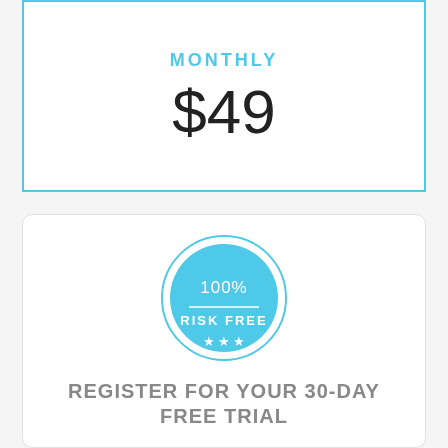MONTHLY
$49
[Figure (illustration): 100% Risk Free badge — a filled light-blue circle inside a thin-ring circle, with text '100%', a horizontal line, 'RISK FREE', and three white stars below.]
REGISTER FOR YOUR 30-DAY FREE TRIAL
Customizable website to reflect your